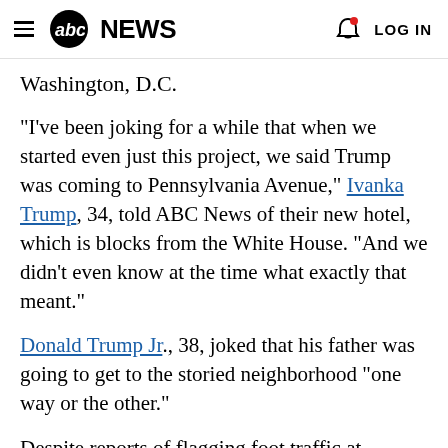abc NEWS  LOG IN
Washington, D.C.
"I've been joking for a while that when we started even just this project, we said Trump was coming to Pennsylvania Avenue," Ivanka Trump, 34, told ABC News of their new hotel, which is blocks from the White House. "And we didn't even know at the time what exactly that meant."
Donald Trump Jr., 38, joked that his father was going to get to the storied neighborhood "one way or the other."
Despite reports of flagging foot traffic at